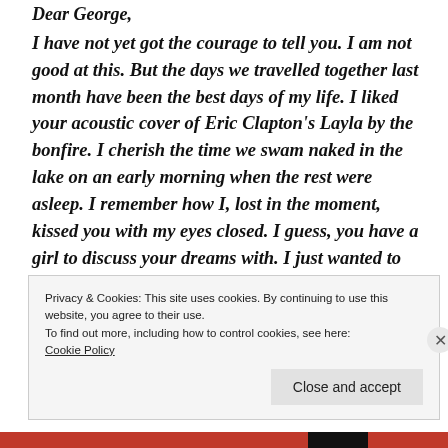Dear George,
I have not yet got the courage to tell you. I am not good at this. But the days we travelled together last month have been the best days of my life. I liked your acoustic cover of Eric Clapton's Layla by the bonfire. I cherish the time we swam naked in the lake on an early morning when the rest were asleep. I remember how I, lost in the moment, kissed you with my eyes closed. I guess, you have a girl to discuss your dreams with. I just wanted to
Privacy & Cookies: This site uses cookies. By continuing to use this website, you agree to their use.
To find out more, including how to control cookies, see here:
Cookie Policy
Close and accept